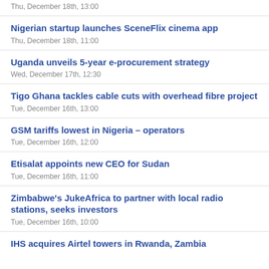Thu, December 18th, 13:00
Nigerian startup launches SceneFlix cinema app
Thu, December 18th, 11:00
Uganda unveils 5-year e-procurement strategy
Wed, December 17th, 12:30
Tigo Ghana tackles cable cuts with overhead fibre project
Tue, December 16th, 13:00
GSM tariffs lowest in Nigeria – operators
Tue, December 16th, 12:00
Etisalat appoints new CEO for Sudan
Tue, December 16th, 11:00
Zimbabwe's JukeAfrica to partner with local radio stations, seeks investors
Tue, December 16th, 10:00
IHS acquires Airtel towers in Rwanda, Zambia